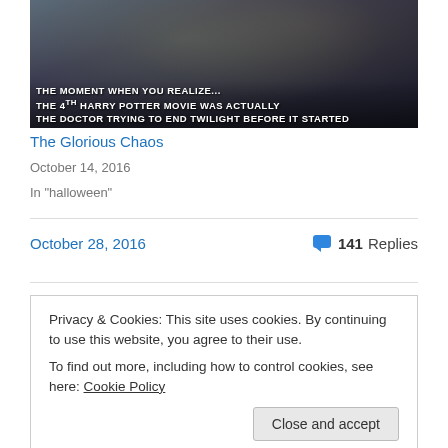[Figure (photo): Photo of a person being carried/grabbed by others, with white bold meme text overlay reading: THE MOMENT WHEN YOU REALIZE... THE 4TH HARRY POTTER MOVIE WAS ACTUALLY THE DOCTOR TRYING TO END TWILIGHT BEFORE IT STARTED]
The Glorious Chaos
October 14, 2016
In "halloween"
October 28, 2016
141 Replies
Privacy & Cookies: This site uses cookies. By continuing to use this website, you agree to their use.
To find out more, including how to control cookies, see here: Cookie Policy